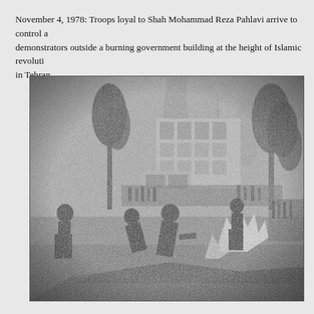November 4, 1978: Troops loyal to Shah Mohammad Reza Pahlavi arrive to control a demonstrators outside a burning government building at the height of Islamic revoluti... in Tehran.
[Figure (photo): Black and white photograph of demonstrators outside a burning government building during the 1978 Islamic Revolution in Tehran. In the foreground, people are gathered around large objects on fire with visible flames. Smoke rises in the background. A multi-story building and trees are visible in the background, with crowds of people lining the street.]